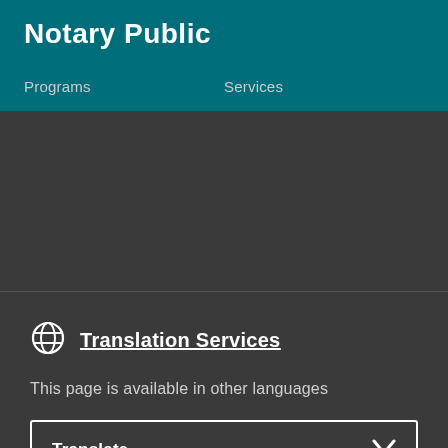Notary Public
Programs   Services
Translation Services
This page is available in other languages
Translate